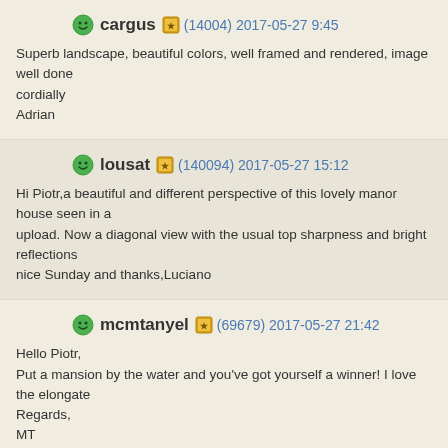cargus (14004) 2017-05-27 9:45
Superb landscape, beautiful colors, well framed and rendered, image well done cordially
Adrian
lousat (140094) 2017-05-27 15:12
Hi Piotr,a beautiful and different perspective of this lovely manor house seen in a upload. Now a diagonal view with the usual top sharpness and bright reflections nice Sunday and thanks,Luciano
mcmtanyel (69679) 2017-05-27 21:42
Hello Piotr,
Put a mansion by the water and you've got yourself a winner! I love the elongate Regards,
MT
Nicou (193814) 2017-05-27 21:51